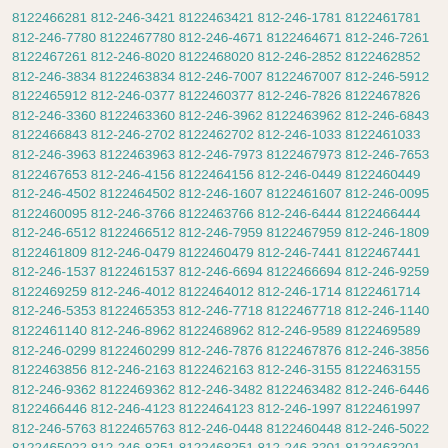8122466281 812-246-3421 8122463421 812-246-1781 8122461781 812-246-7780 8122467780 812-246-4671 8122464671 812-246-7261 8122467261 812-246-8020 8122468020 812-246-2852 8122462852 812-246-3834 8122463834 812-246-7007 8122467007 812-246-5912 8122465912 812-246-0377 8122460377 812-246-7826 8122467826 812-246-3360 8122463360 812-246-3962 8122463962 812-246-6843 8122466843 812-246-2702 8122462702 812-246-1033 8122461033 812-246-3963 8122463963 812-246-7973 8122467973 812-246-7653 8122467653 812-246-4156 8122464156 812-246-0449 8122460449 812-246-4502 8122464502 812-246-1607 8122461607 812-246-0095 8122460095 812-246-3766 8122463766 812-246-6444 8122466444 812-246-6512 8122466512 812-246-7959 8122467959 812-246-1809 8122461809 812-246-0479 8122460479 812-246-7441 8122467441 812-246-1537 8122461537 812-246-6694 8122466694 812-246-9259 8122469259 812-246-4012 8122464012 812-246-1714 8122461714 812-246-5353 8122465353 812-246-7718 8122467718 812-246-1140 8122461140 812-246-8962 8122468962 812-246-9589 8122469589 812-246-0299 8122460299 812-246-7876 8122467876 812-246-3856 8122463856 812-246-2163 8122462163 812-246-3155 8122463155 812-246-9362 8122469362 812-246-3482 8122463482 812-246-6446 8122466446 812-246-4123 8122464123 812-246-1997 8122461997 812-246-5763 8122465763 812-246-0448 8122460448 812-246-5022 8122465022 812-246-8251 8122468251 812-246-3201 8122463201 812-246-1383 8122461383 812-246-0725 8122460725 812-246-1934 8122461934 812-246-3767 8122463767 812-246-0371 8122460371 812-246-0579 8122460579 812-246-1082 8122461082 812-246-5584 8122465584 812-246-9038 8122469038 812-246-1150 8122461150 81